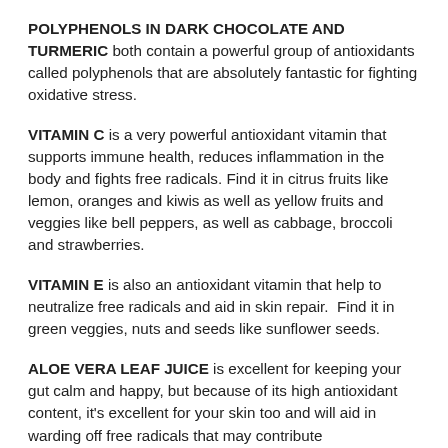POLYPHENOLS IN DARK CHOCOLATE AND TURMERIC both contain a powerful group of antioxidants called polyphenols that are absolutely fantastic for fighting oxidative stress.
VITAMIN C is a very powerful antioxidant vitamin that supports immune health, reduces inflammation in the body and fights free radicals. Find it in citrus fruits like lemon, oranges and kiwis as well as yellow fruits and veggies like bell peppers, as well as cabbage, broccoli and strawberries.
VITAMIN E is also an antioxidant vitamin that help to neutralize free radicals and aid in skin repair.  Find it in green veggies, nuts and seeds like sunflower seeds.
ALOE VERA LEAF JUICE is excellent for keeping your gut calm and happy, but because of its high antioxidant content, it's excellent for your skin too and will aid in warding off free radicals that may contribute